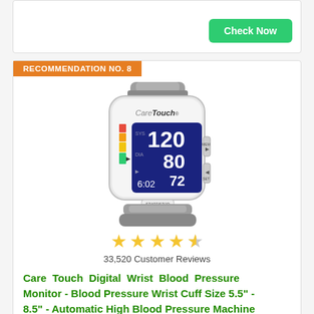Check Now
RECOMMENDATION NO. 8
[Figure (photo): CareTouch Digital Wrist Blood Pressure Monitor showing a wrist cuff device with a blue LED display showing blood pressure readings 120/80 and pulse 72, time 6:02, with a START/STOP button and side buttons.]
★★★★½ 33,520 Customer Reviews
Care Touch Digital Wrist Blood Pressure Monitor - Blood Pressure Wrist Cuff Size 5.5" - 8.5" - Automatic High Blood Pressure Machine